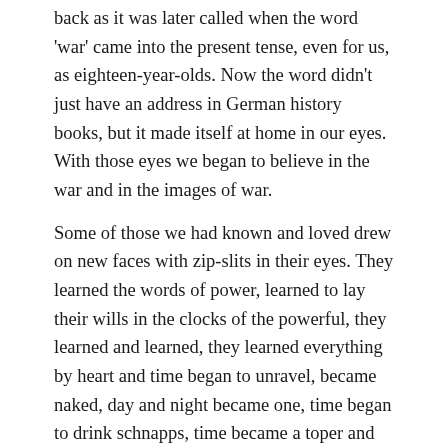back as it was later called when the word 'war' came into the present tense, even for us, as eighteen-year-olds. Now the word didn't just have an address in German history books, but it made itself at home in our eyes. With those eyes we began to believe in the war and in the images of war. Some of those we had known and loved drew on new faces with zip-slits in their eyes. They learned the words of power, learned to lay their wills in the clocks of the powerful, they learned and learned, they learned everything by heart and time began to unravel, became naked, day and night became one, time began to drink schnapps, time became a toper and betrayed people. Now a new time had come. And it contained no past any more, piece by piece, battle-day by battle-day, frontline by frontline, the past was disposed of. Now there was no